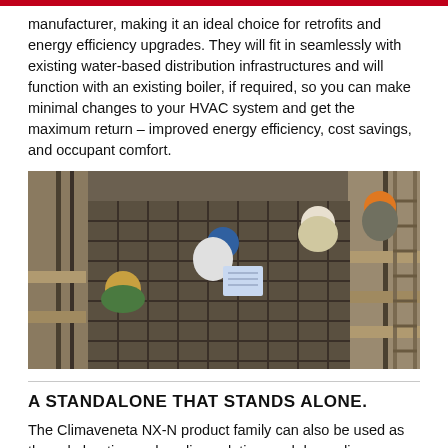manufacturer, making it an ideal choice for retrofits and energy efficiency upgrades. They will fit in seamlessly with existing water-based distribution infrastructures and will function with an existing boiler, if required, so you can make minimal changes to your HVAC system and get the maximum return – improved energy efficiency, cost savings, and occupant comfort.
[Figure (photo): Overhead view of construction workers on scaffolding looking at blueprints]
A STANDALONE THAT STANDS ALONE.
The Climaveneta NX-N product family can also be used as the sole heating and cooling solution, and depending on temperature conditions, can significantly reduce the building energy load.